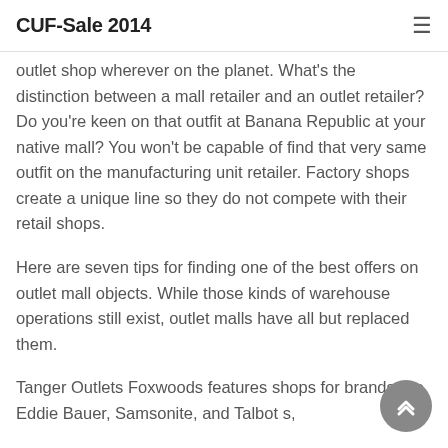CUF-Sale 2014
outlet shop wherever on the planet. What's the distinction between a mall retailer and an outlet retailer? Do you're keen on that outfit at Banana Republic at your native mall? You won't be capable of find that very same outfit on the manufacturing unit retailer. Factory shops create a unique line so they do not compete with their retail shops.
Here are seven tips for finding one of the best offers on outlet mall objects. While those kinds of warehouse operations still exist, outlet malls have all but replaced them.
Tanger Outlets Foxwoods features shops for brands like Eddie Bauer, Samsonite, and Talbot s,